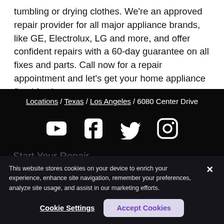tumbling or drying clothes. We're an approved repair provider for all major appliance brands, like GE, Electrolux, LG and more, and offer confident repairs with a 60-day guarantee on all fixes and parts. Call now for a repair appointment and let's get your home appliance fixed fast!
Locations / Texas / Los Angeles / 6080 Center Drive
[Figure (other): Social media icons: YouTube, Facebook, Twitter, Instagram]
This website stores cookies on your device to enrich your experience, enhance site navigation, remember your preferences, analyze site usage, and assist in our marketing efforts.
Start Your Repair
Refrigerator Repair
Cookie Settings
Accept Cookies